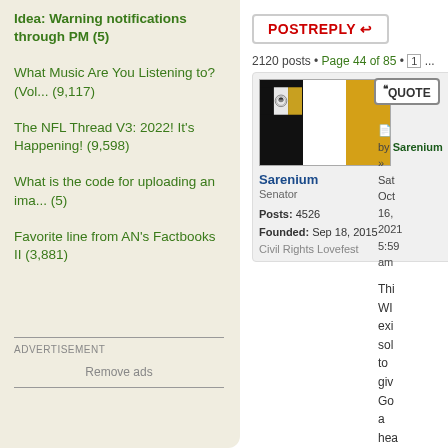Idea: Warning notifications through PM (5)
What Music Are You Listening to? (Vol... (9,117)
The NFL Thread V3: 2022! It's Happening! (9,598)
What is the code for uploading an ima... (5)
Favorite line from AN's Factbooks II (3,881)
ADVERTISEMENT
Remove ads
POST REPLY
2120 posts • Page 44 of 85 • 1 ... 41 42 43 44 45 46 47 ... 85
QUOTE
by Sarenium
Sat Oct 16, 2021 5:59 am
Sarenium
Senator
Posts: 4526
Founded: Sep 18, 2015
Civil Rights Lovefest
Thi
WI
exi
sol
to
giv
Go
a
hea
atta